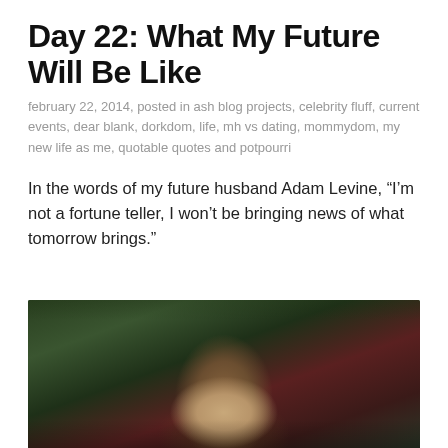Day 22: What My Future Will Be Like
february 22, 2014, posted in ash blog projects, celebrity fluff, current events, dear blank, dorkdom, life, mh vs dating, mommydom, my new life as me, quotable quotes and potpourri
In the words of my future husband Adam Levine, “I’m not a fortune teller, I won’t be bringing news of what tomorrow brings.”
[Figure (photo): Photo of Adam Levine, a man with dark spiky hair and a beard, looking directly at camera, with a green leafy background and red flowers/berries.]